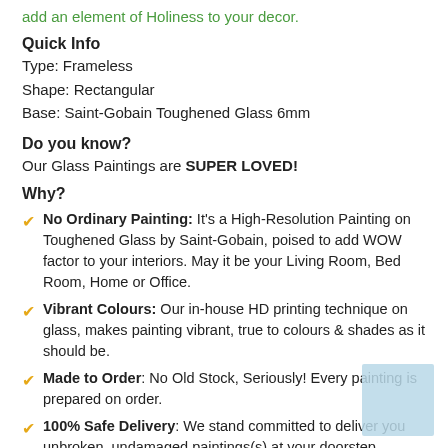add an element of Holiness to your decor.
Quick Info
Type: Frameless
Shape: Rectangular
Base: Saint-Gobain Toughened Glass 6mm
Do you know?
Our Glass Paintings are SUPER LOVED!
Why?
No Ordinary Painting: It's a High-Resolution Painting on Toughened Glass by Saint-Gobain, poised to add WOW factor to your interiors. May it be your Living Room, Bed Room, Home or Office.
Vibrant Colours: Our in-house HD printing technique on glass, makes painting vibrant, true to colours & shades as it should be.
Made to Order: No Old Stock, Seriously! Every painting is prepared on order.
100% Safe Delivery: We stand committed to deliver you unbroken, undamaged paintings(s) at your doorstep. Incase